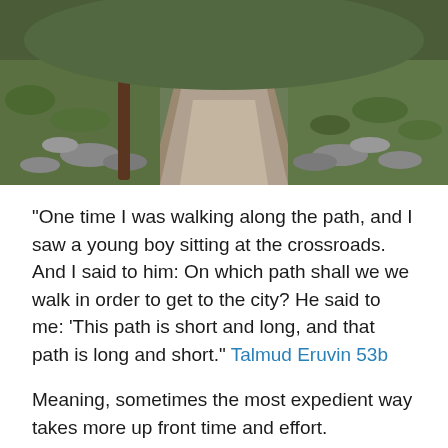[Figure (photo): A gravel path at a crossroads with green grass and rocks on the sides, and a wooden post on the left. The path leads upward through a rocky, grassy landscape.]
“One time I was walking along the path, and I saw a young boy sitting at the crossroads. And I said to him: On which path shall we we walk in order to get to the city? He said to me: ‘This path is short and long, and that path is long and short.” Talmud Eruvin 53b
Meaning, sometimes the most expedient way takes more up front time and effort. Ultimately, the choice is ours. Do we want to take shortcuts that might put the goal even further away? Do we focus on the here an now, the short-term results and worry about the consequences later? Do we busy ourselves with the everyday so we can’t focus on